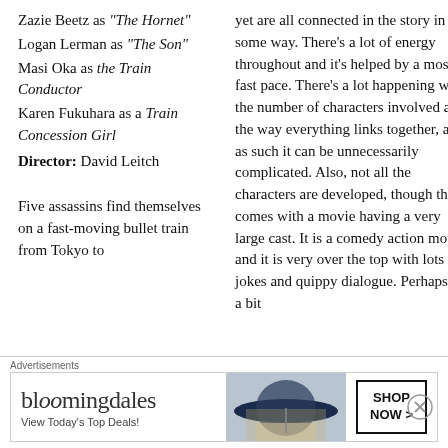Zazie Beetz as "The Hornet"
Logan Lerman as "The Son"
Masi Oka as the Train Conductor
Karen Fukuhara as a Train Concession Girl
Director: David Leitch
Five assassins find themselves on a fast-moving bullet train from Tokyo to
yet are all connected in the story in some way. There’s a lot of energy throughout and it’s helped by a mostly fast pace. There’s a lot happening with the number of characters involved and the way everything links together, and as such it can be unnecessarily complicated. Also, not all the characters are developed, though that comes with a movie having a very large cast. It is a comedy action movie, and it is very over the top with lots of jokes and quippy dialogue. Perhaps it’s a bit
Advertisements
[Figure (infographic): Bloomingdale's advertisement banner with logo, tagline 'View Today's Top Deals!', woman in large hat image, and 'SHOP NOW >' button]